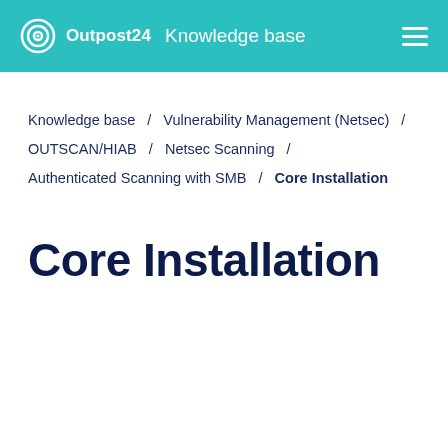Outpost24  Knowledge base
Knowledge base / Vulnerability Management (Netsec) / OUTSCAN/HIAB / Netsec Scanning / Authenticated Scanning with SMB / Core Installation
Core Installation